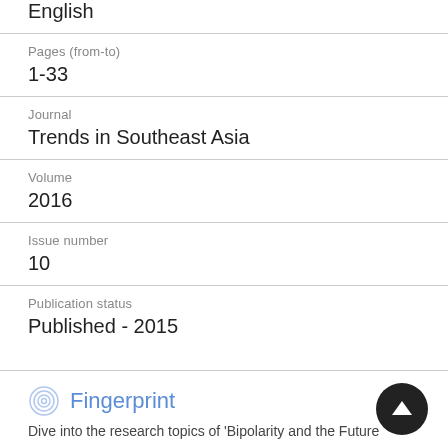English
Pages (from-to)
1-33
Journal
Trends in Southeast Asia
Volume
2016
Issue number
10
Publication status
Published - 2015
Fingerprint
Dive into the research topics of 'Bipolarity and the Future